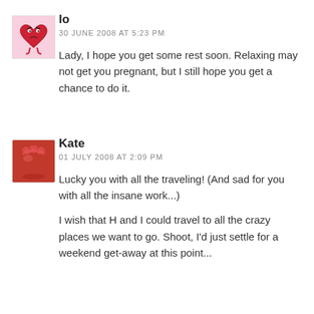[Figure (illustration): Avatar image for commenter 'lo' — cartoon heart character with eyes and legs on pink background]
lo
30 JUNE 2008 AT 5:23 PM
Lady, I hope you get some rest soon. Relaxing may not get you pregnant, but I still hope you get a chance to do it.
[Figure (photo): Avatar image for commenter 'Kate' — red woolly/fuzzy ball object on white background]
Kate
01 JULY 2008 AT 2:09 PM
Lucky you with all the traveling! (And sad for you with all the insane work...)
I wish that H and I could travel to all the crazy places we want to go. Shoot, I'd just settle for a weekend get-away at this point...